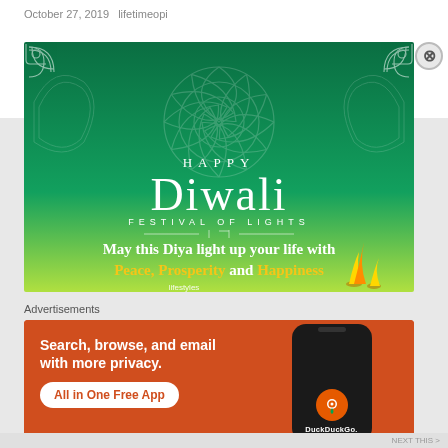October 27, 2019   lifetimeopi
[Figure (illustration): Happy Diwali Festival of Lights greeting card with teal/green gradient background, decorative floral mandala pattern, white ornamental corners, text reading HAPPY Diwali FESTIVAL OF LIGHTS, May this Diya light up your life with Peace, Prosperity and Happiness, with Lifestyles logo and diya flame at bottom]
Advertisements
[Figure (screenshot): DuckDuckGo advertisement with orange background showing text: Search, browse, and email with more privacy. All in One Free App. DuckDuckGo. with phone image showing DuckDuckGo logo.]